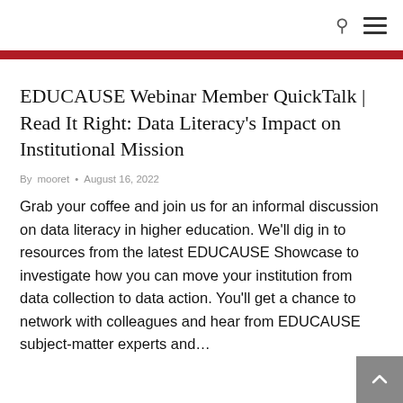🔍 ≡
EDUCAUSE Webinar Member QuickTalk | Read It Right: Data Literacy's Impact on Institutional Mission
By mooret • August 16, 2022
Grab your coffee and join us for an informal discussion on data literacy in higher education. We'll dig in to resources from the latest EDUCAUSE Showcase to investigate how you can move your institution from data collection to data action. You'll get a chance to network with colleagues and hear from EDUCAUSE subject-matter experts and…